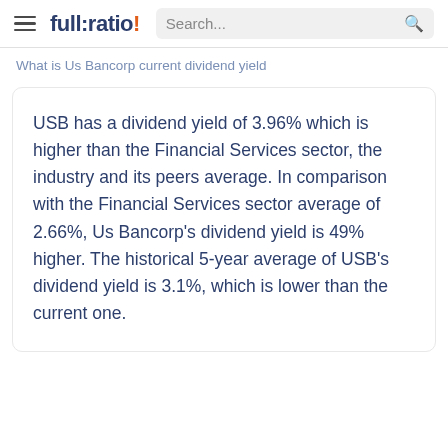full:ratio! Search...
What is Us Bancorp current dividend yield
USB has a dividend yield of 3.96% which is higher than the Financial Services sector, the industry and its peers average. In comparison with the Financial Services sector average of 2.66%, Us Bancorp's dividend yield is 49% higher. The historical 5-year average of USB's dividend yield is 3.1%, which is lower than the current one.